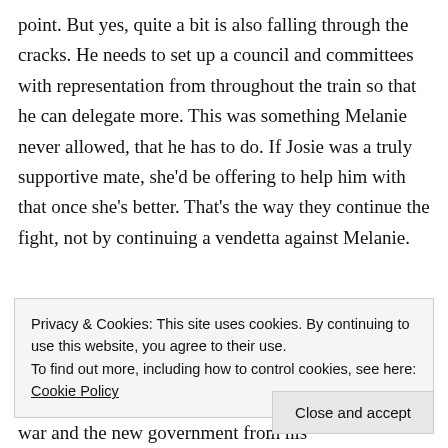point. But yes, quite a bit is also falling through the cracks. He needs to set up a council and committees with representation from throughout the train so that he can delegate more. This was something Melanie never allowed, that he has to do. If Josie was a truly supportive mate, she'd be offering to help him with that once she's better. That's the way they continue the fight, not by continuing a vendetta against Melanie.
Advertisements
Privacy & Cookies: This site uses cookies. By continuing to use this website, you agree to their use.
To find out more, including how to control cookies, see here: Cookie Policy
Close and accept
war and the new government from his